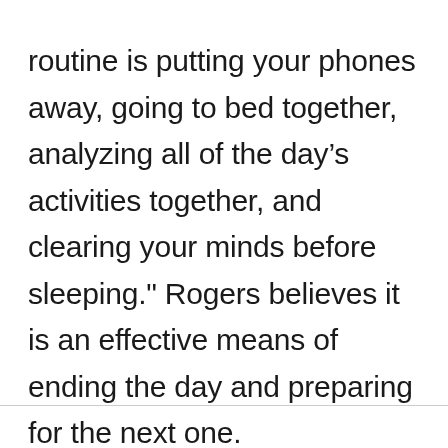routine is putting your phones away, going to bed together, analyzing all of the day's activities together, and clearing your minds before sleeping." Rogers believes it is an effective means of ending the day and preparing for the next one.